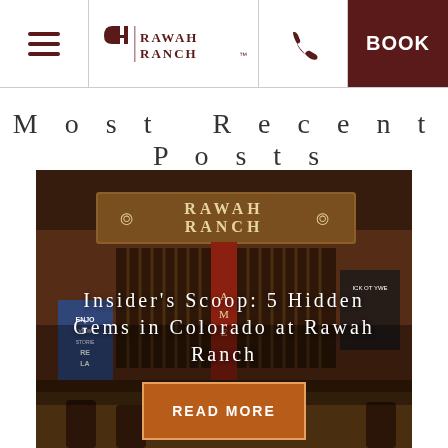Rawah Ranch — Navigation bar with menu, logo, phone, and BOOK button
Most Recent Posts
[Figure (photo): Interior of Rawah Ranch bar/lodge with Rawah Ranch sign visible, rustic wood decor, bar counter in foreground]
Insider's Scoop: 5 Hidden Gems in Colorado at Rawah Ranch
READ MORE